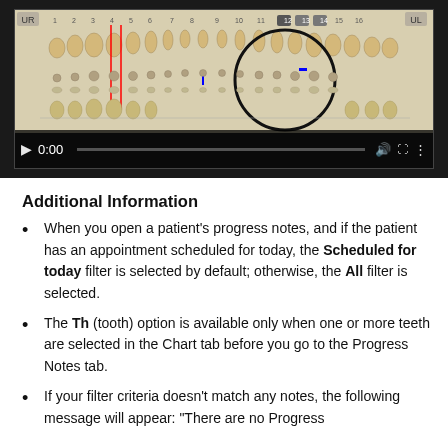[Figure (screenshot): A dental charting software video/screenshot showing a dental chart with tooth diagrams in a dark video player interface with playback controls showing 0:00 timestamp]
Additional Information
When you open a patient's progress notes, and if the patient has an appointment scheduled for today, the Scheduled for today filter is selected by default; otherwise, the All filter is selected.
The Th (tooth) option is available only when one or more teeth are selected in the Chart tab before you go to the Progress Notes tab.
If your filter criteria doesn't match any notes, the following message will appear: "There are no Progress